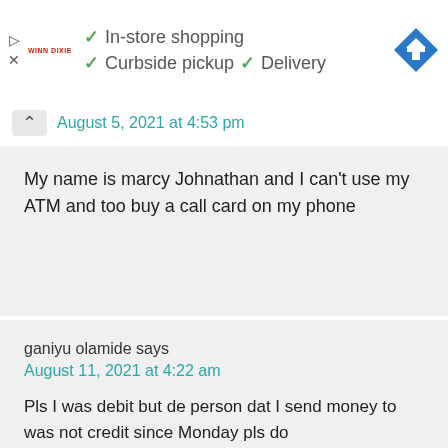[Figure (screenshot): Store header with Winn Dixie logo, checkmarks for In-store shopping, Curbside pickup, Delivery, and a Google Maps navigation icon]
August 5, 2021 at 4:53 pm
My name is marcy Johnathan and I can't use my ATM and too buy a call card on my phone
ganiyu olamide says
August 11, 2021 at 4:22 am
Pls I was debit but de person dat I send money to was not credit since Monday pls do